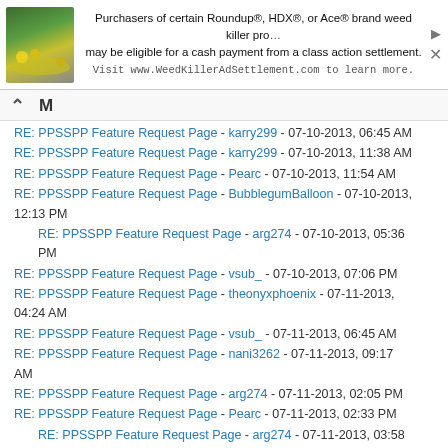[Figure (other): Advertisement banner for WeedKillerAdSettlement.com - Purchasers of certain Roundup®, HDX®, or Ace® brand weed killer products may be eligible for a cash payment from a class action settlement.]
RE: PPSSPP Feature Request Page - karry299 - 07-10-2013, 06:45 AM
RE: PPSSPP Feature Request Page - karry299 - 07-10-2013, 11:38 AM
RE: PPSSPP Feature Request Page - Pearc - 07-10-2013, 11:54 AM
RE: PPSSPP Feature Request Page - BubblegumBalloon - 07-10-2013, 12:13 PM
RE: PPSSPP Feature Request Page - arg274 - 07-10-2013, 05:36 PM
RE: PPSSPP Feature Request Page - vsub_ - 07-10-2013, 07:06 PM
RE: PPSSPP Feature Request Page - theonyxphoenix - 07-11-2013, 04:24 AM
RE: PPSSPP Feature Request Page - vsub_ - 07-11-2013, 06:45 AM
RE: PPSSPP Feature Request Page - nani3262 - 07-11-2013, 09:17 AM
RE: PPSSPP Feature Request Page - arg274 - 07-11-2013, 02:05 PM
RE: PPSSPP Feature Request Page - Pearc - 07-11-2013, 02:33 PM
RE: PPSSPP Feature Request Page - arg274 - 07-11-2013, 03:58 PM
RE: PPSSPP Feature Request Page - Pearc - 07-11-2013, 06:43 PM
RE: PPSSPP Feature Request Page - Titan - 07-12-2013, 05:46 PM